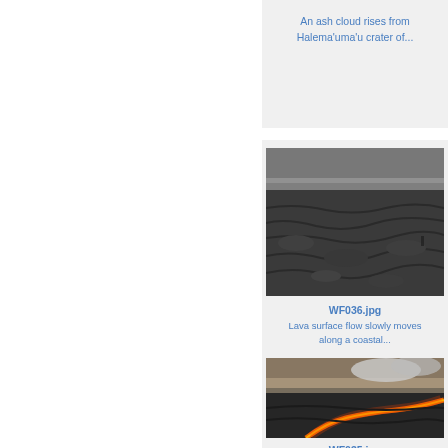An ash cloud rises from Halema'uma'u crater of...
[Figure (photo): Aerial panoramic view of dark hardened lava field surface stretching to the horizon with cloudy sky]
WF036.jpg
Lava surface flow slowly moves along a coastal...
[Figure (photo): Active lava surface flow showing glowing orange-red lava channels cutting through dark hardened lava field at dusk with cloudy sky]
WF035.jpg
Active lava surface flow a few...